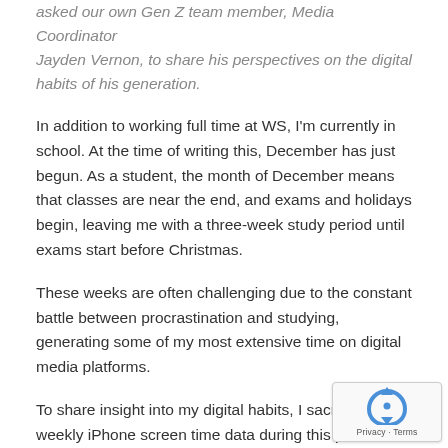asked our own Gen Z team member, Media Coordinator Jayden Vernon, to share his perspectives on the digital habits of his generation.
In addition to working full time at WS, I'm currently in school. At the time of writing this, December has just begun. As a student, the month of December means that classes are near the end, and exams and holidays begin, leaving me with a three-week study period until exams start before Christmas.
These weeks are often challenging due to the constant battle between procrastination and studying, generating some of my most extensive time on digital media platforms.
To share insight into my digital habits, I sacrificed my weekly iPhone screen time data during this period for this article. Overall, I spent an average of 6 hours looking at the screen of my iPhone.